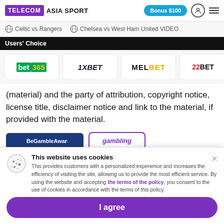TELECOM ASIA SPORT | Bonus $100
Celtic vs Rangers   Chelsea vs West Ham United VIDEO
Users' Choice
[Figure (logo): Bookmaker logos row: bet365, 1XBET, MELBET, 22BET]
(material) and the party of attribution, copyright notice, license title, disclaimer notice and link to the material, if provided with the material.
[Figure (logo): Partial logos at bottom: blue banner and gambling text logo]
This website uses cookies
This provides customers with a personalized experience and increases the efficiency of visiting the site, allowing us to provide the most efficient service. By using the website and accepting the terms of the policy, you consent to the use of cookies in accordance with the terms of this policy.
I agree